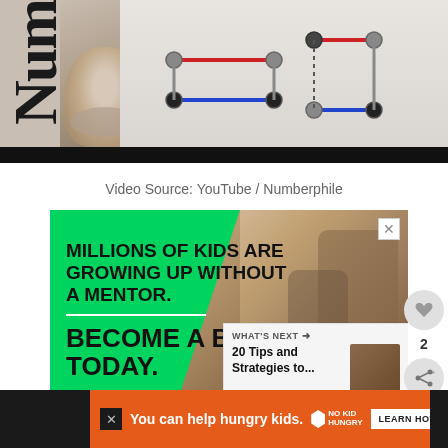[Figure (screenshot): Top portion of a video player showing Numberphile YouTube content — a face close-up on left and a mathematical diagram with colored lines on right. Black bar at bottom of video.]
Video Source: YouTube / Numberphile
[Figure (photo): Big Brothers Big Sisters of America advertisement on green background. Text: MILLIONS OF KIDS ARE GROWING UP WITHOUT A MENTOR. BECOME A BIG TODAY. Learn How button. Shows photo of mentor with child.]
[Figure (screenshot): What's Next panel: 20 Tips and Strategies to...]
[Figure (photo): Bottom orange banner ad: You can help hungry kids. No Kid Hungry logo. LEARN HOW button.]